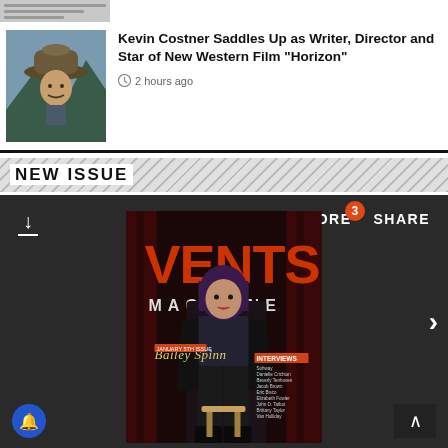[Figure (photo): Small thumbnail image of a film or article, blurred/partially visible at top]
Kevin Costner Saddles Up as Writer, Director and Star of New Western Film “Horizon”
2 hours ago
NEW ISSUE
[Figure (photo): Vents Magazine cover featuring Bailey Spinn, woman with purple/dark hair in black outfit, with INTERVIEWS section listing. Dark red background. READ MORE and SHARE buttons at top, download icon at left. Notification badge showing 3. Next arrow on right side.]